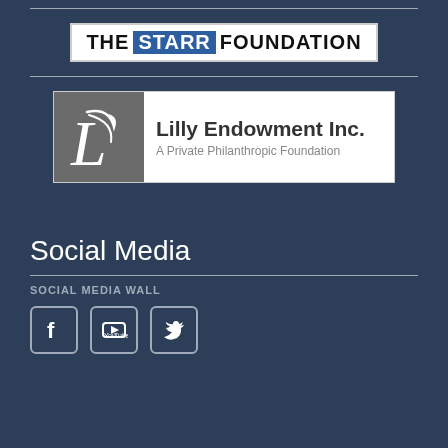[Figure (logo): The Starr Foundation logo — white background with 'THE' in black bold, 'STARR' in white on blue background, 'FOUNDATION' in black bold]
[Figure (logo): Lilly Endowment Inc. logo — white rectangle with grey icon on left, text 'Lilly Endowment Inc.' and 'A Private Philanthropic Foundation' on right]
Social Media
SOCIAL MEDIA WALL
[Figure (infographic): Three social media icons: Facebook, YouTube, Twitter — white outlined square icons]